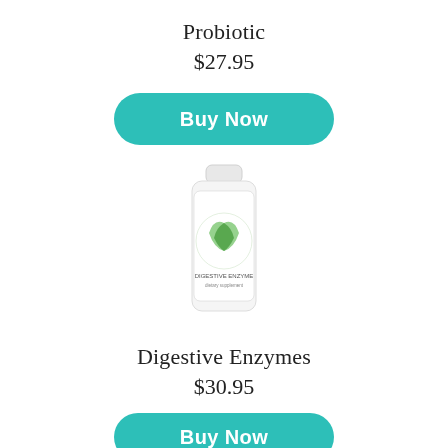Probiotic
$27.95
[Figure (other): Buy Now button (teal/turquoise rounded rectangle)]
[Figure (photo): USANA Digestive Enzymes supplement bottle with green logo on white label]
Digestive Enzymes
$30.95
[Figure (other): Buy Now button (teal/turquoise rounded rectangle)]
[Figure (photo): Partially visible teal USANA MySmart supplement packet at bottom of page]